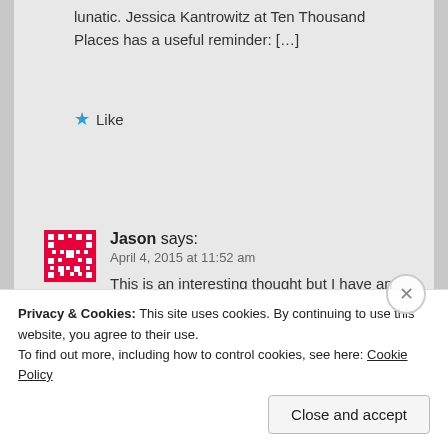lunatic. Jessica Kantrowitz at Ten Thousand Places has a useful reminder: […]
★ Like
Jason says:
April 4, 2015 at 11:52 am
This is an interesting thought but I have an even more novel suggestion, remove the state
Privacy & Cookies: This site uses cookies. By continuing to use this website, you agree to their use.
To find out more, including how to control cookies, see here: Cookie Policy
Close and accept